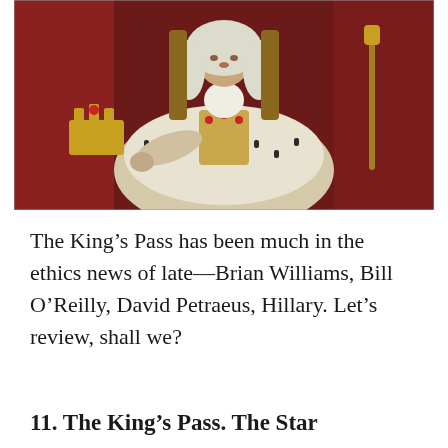[Figure (illustration): Painting of a king in royal coronation robes and white ermine-trimmed mantle, seated on a throne, wearing a powdered wig, holding a scepter, with a crown visible to his left, red drapery in background.]
The King’s Pass has been much in the ethics news of late—Brian Williams, Bill O’Reilly, David Petraeus, Hillary. Let’s review, shall we?
11. The King’s Pass. The Star